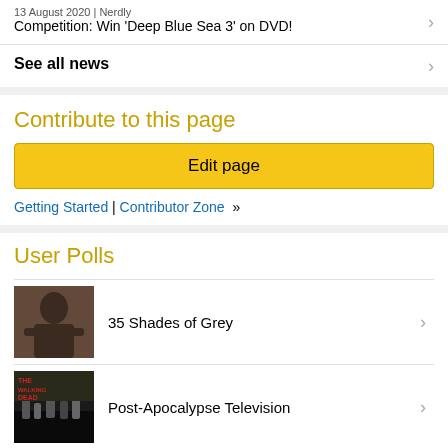13 August 2020 | Nerdly
Competition: Win 'Deep Blue Sea 3' on DVD!
See all news
Contribute to this page
Edit page
Getting Started | Contributor Zone »
User Polls
35 Shades of Grey
Post-Apocalypse Television